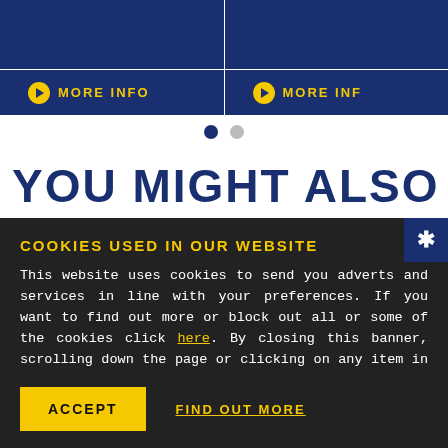[Figure (screenshot): Two blue banner cards side by side with yellow circle-arrow 'MORE INFO' buttons at the bottom of each card]
● ○
YOU MIGHT ALSO LIKE
COOKIES USED IN OUR WEBSITE
This website uses cookies to send you adverts and services in line with your preferences. If you want to find out more or block out all or some of the cookies click here. By closing this banner, scrolling down the page or clicking on any item in it you are accepting the use of cookies.
ACCEPT
FIND OUT MORE